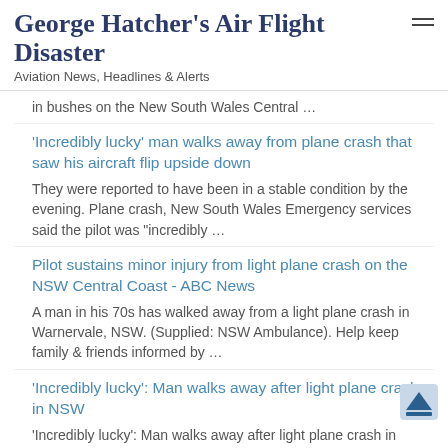George Hatcher's Air Flight Disaster
Aviation News, Headlines & Alerts
in bushes on the New South Wales Central …
'Incredibly lucky' man walks away from plane crash that saw his aircraft flip upside down
They were reported to have been in a stable condition by the evening. Plane crash, New South Wales Emergency services said the pilot was "incredibly …
Pilot sustains minor injury from light plane crash on the NSW Central Coast - ABC News
A man in his 70s has walked away from a light plane crash in Warnervale, NSW. (Supplied: NSW Ambulance). Help keep family & friends informed by …
'Incredibly lucky': Man walks away after light plane crash in NSW
'Incredibly lucky': Man walks away after light plane crash in